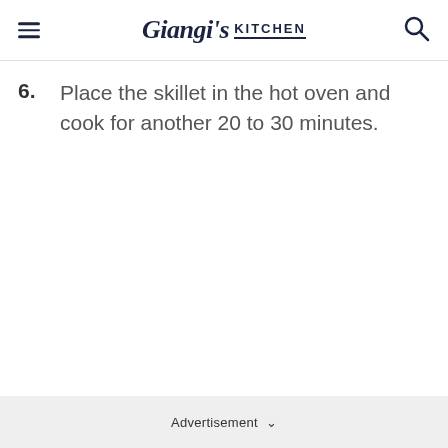Giangi's Kitchen
6. Place the skillet in the hot oven and cook for another 20 to 30 minutes.
Advertisement